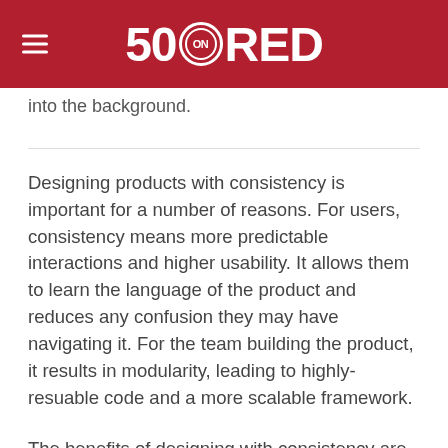50 ON RED
into the background.
Designing products with consistency is important for a number of reasons. For users, consistency means more predictable interactions and higher usability. It allows them to learn the language of the product and reduces any confusion they may have navigating it. For the team building the product, it results in modularity, leading to highly-resuable code and a more scalable framework.
The benefits of designing with consistency are numerous. In fact, I'd even argue that it's impossible to create a successful product without consistent design.